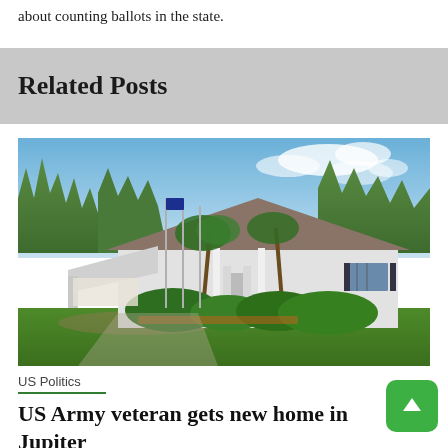about counting ballots in the state.
Related Posts
[Figure (photo): A white single-story house with a dark shingled roof, flagpoles with a blue flag, palm trees and tropical shrubs in the foreground, tall pine trees in the background, and a blue sky with clouds.]
US Politics
US Army veteran gets new home in Jupiter